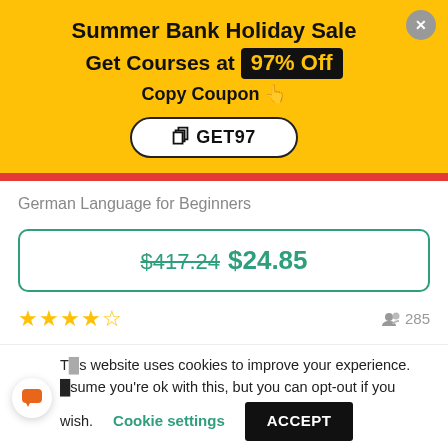Summer Bank Holiday Sale
Get Courses at 97% Off
Copy Coupon 👆
GET97
German Language for Beginners
$417.24 $24.85
★★★★½  285
This website uses cookies to improve your experience. We assume you're ok with this, but you can opt-out if you wish.
Cookie settings  ACCEPT